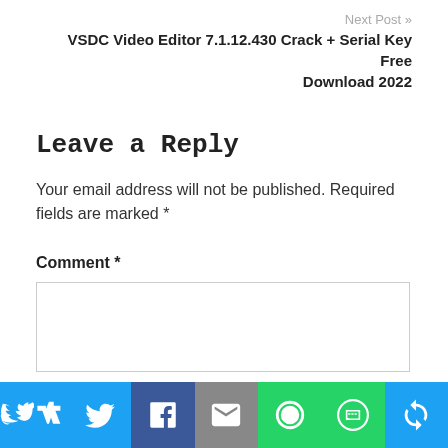Next Post »
VSDC Video Editor 7.1.12.430 Crack + Serial Key Free Download 2022
Leave a Reply
Your email address will not be published. Required fields are marked *
Comment *
[Figure (other): Social share bar with Twitter, Facebook, Email, WhatsApp, SMS, and share icons]